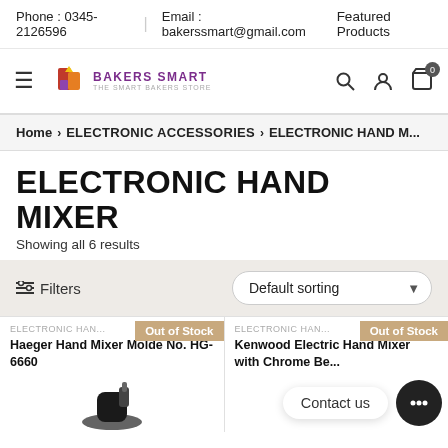Phone : 0345-2126596 | Email : bakerssmart@gmail.com
Featured Products
[Figure (logo): Bakers Smart logo with building icon and purple text]
Home > ELECTRONIC ACCESSORIES > ELECTRONIC HAND MIXER
ELECTRONIC HAND MIXER
Showing all 6 results
Filters  Default sorting
ELECTRONIC HAN... Out of Stock
Haeger Hand Mixer Molde No. HG-6660
ELECTRONIC HAN... Out of Stock
Kenwood Electric Hand Mixer with Chrome Be...
Contact us